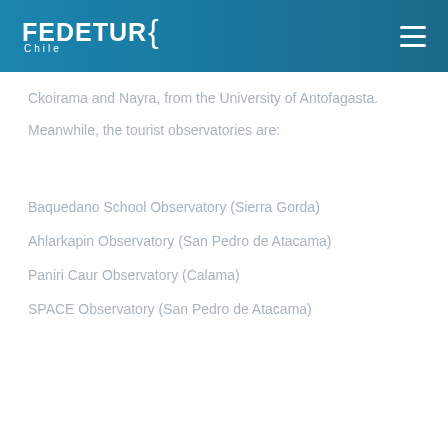FEDETUR{ Chile
Ckoirama and Nayra, from the University of Antofagasta.
Meanwhile, the tourist observatories are:
Baquedano School Observatory (Sierra Gorda)
Ahlarkapin Observatory (San Pedro de Atacama)
Paniri Caur Observatory (Calama)
SPACE Observatory (San Pedro de Atacama)